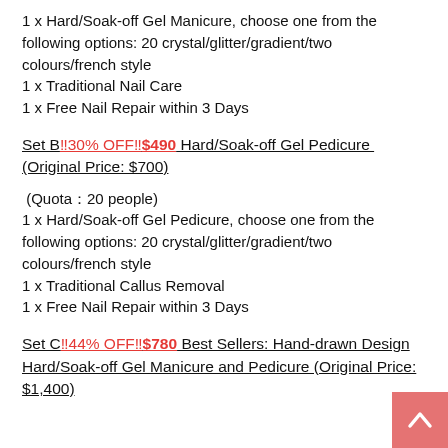1 x Hard/Soak-off Gel Manicure, choose one from the following options: 20 crystal/glitter/gradient/two colours/french style
1 x Traditional Nail Care
1 x Free Nail Repair within 3 Days
Set B‼30% OFF‼$490 Hard/Soak-off Gel Pedicure  (Original Price: $700)
(Quota：20 people)
1 x Hard/Soak-off Gel Pedicure, choose one from the following options: 20 crystal/glitter/gradient/two colours/french style
1 x Traditional Callus Removal
1 x Free Nail Repair within 3 Days
Set C‼44% OFF‼$780 Best Sellers: Hand-drawn Design Hard/Soak-off Gel Manicure and Pedicure (Original Price: $1,400)